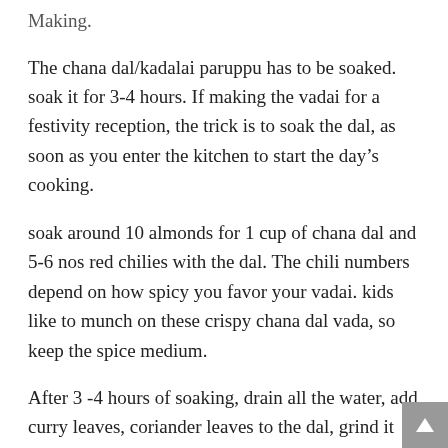Making.
The chana dal/kadalai paruppu has to be soaked. soak it for 3-4 hours. If making the vadai for a festivity reception, the trick is to soak the dal, as soon as you enter the kitchen to start the day’s cooking.
soak around 10 almonds for 1 cup of chana dal and 5-6 nos red chilies with the dal. The chili numbers depend on how spicy you favor your vadai. kids like to munch on these crispy chana dal vada, so keep the spice medium.
After 3 -4 hours of soaking, drain all the water, add curry leaves, coriander leaves to the dal, grind it near fine batter. don’t grind it smooth, we want a small amount of crunch and crisp.